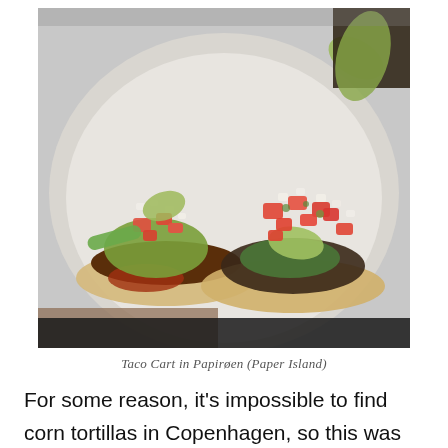[Figure (photo): Two tacos topped with pico de gallo, guacamole, and avocado slices on corn tortillas, served on a white paper plate being held by a hand.]
Taco Cart in Papirøen (Paper Island)
For some reason, it's impossible to find corn tortillas in Copenhagen, so this was an especially good treat for me. These tacos, albeit small, were